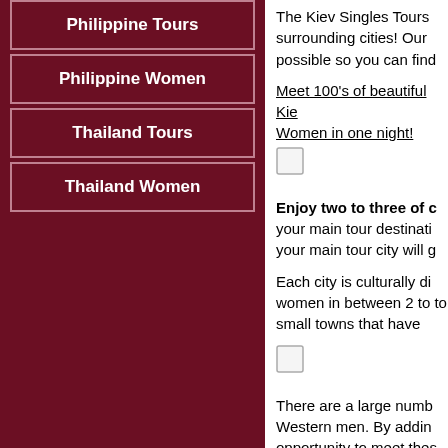Philippine Tours
Philippine Women
Thailand Tours
Thailand Women
The Kiev Singles Tours surrounding cities! Our possible so you can find
Meet 100's of beautiful Kiev Women in one night!
Enjoy two to three of your main tour destination your main tour city will g
Each city is culturally di women in between 2 to to small towns that have
There are a large numb Western men. By adding opportunity to meet thes